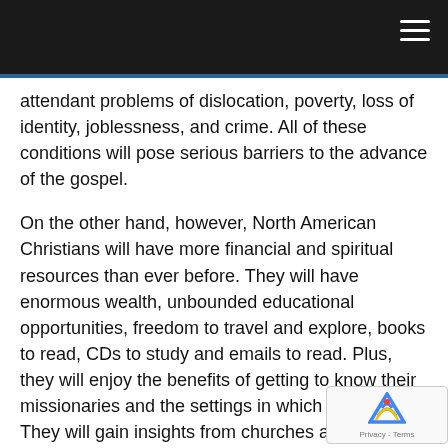attendant problems of dislocation, poverty, loss of identity, joblessness, and crime. All of these conditions will pose serious barriers to the advance of the gospel.
On the other hand, however, North American Christians will have more financial and spiritual resources than ever before. They will have enormous wealth, unbounded educational opportunities, freedom to travel and explore, books to read, CDs to study and emails to read. Plus, they will enjoy the benefits of getting to know their missionaries and the settings in which they serve. They will gain insights from churches and their leaders around the world.
These unparalleled blessings from God will make special demands on his Church to send missionaries